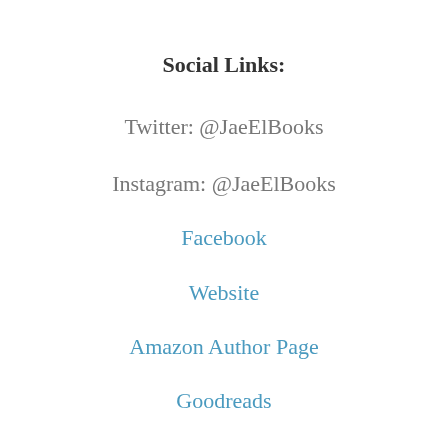Social Links:
Twitter: @JaeElBooks
Instagram: @JaeElBooks
Facebook
Website
Amazon Author Page
Goodreads
Jennifer Patricia O'Keeffe
[Figure (photo): Author photo of Jennifer Patricia O'Keeffe, partially visible at bottom of page, dark background with figure]